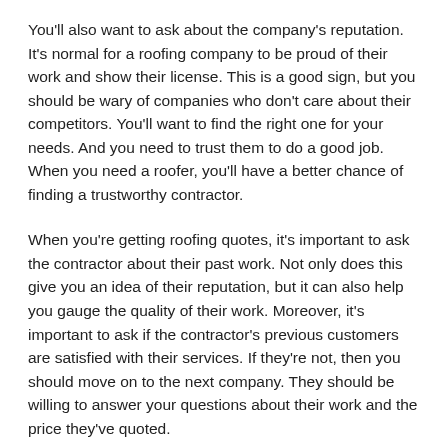You'll also want to ask about the company's reputation. It's normal for a roofing company to be proud of their work and show their license. This is a good sign, but you should be wary of companies who don't care about their competitors. You'll want to find the right one for your needs. And you need to trust them to do a good job. When you need a roofer, you'll have a better chance of finding a trustworthy contractor.
When you're getting roofing quotes, it's important to ask the contractor about their past work. Not only does this give you an idea of their reputation, but it can also help you gauge the quality of their work. Moreover, it's important to ask if the contractor's previous customers are satisfied with their services. If they're not, then you should move on to the next company. They should be willing to answer your questions about their work and the price they've quoted.